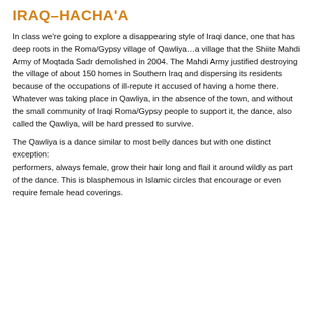IRAQ–HACHA'A
In class we're going to explore a disappearing style of Iraqi dance, one that has deep roots in the Roma/Gypsy village of Qawliya…a village that the Shiite Mahdi Army of Moqtada Sadr demolished in 2004. The Mahdi Army justified destroying the village of about 150 homes in Southern Iraq and dispersing its residents because of the occupations of ill-repute it accused of having a home there. Whatever was taking place in Qawliya, in the absence of the town, and without the small community of Iraqi Roma/Gypsy people to support it, the dance, also called the Qawliya, will be hard pressed to survive.
The Qawliya is a dance similar to most belly dances but with one distinct exception: performers, always female, grow their hair long and flail it around wildly as part of the dance. This is blasphemous in Islamic circles that encourage or even require female head coverings.